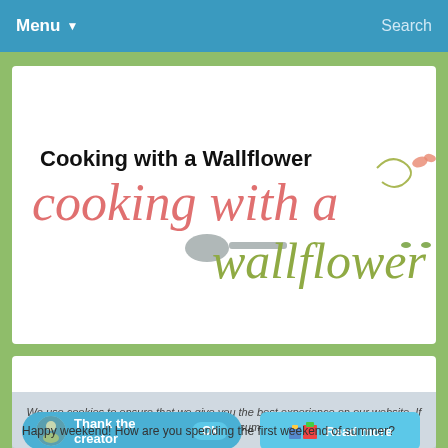Menu  Search
Cooking with a Wallflower
[Figure (logo): Cooking with a Wallflower blog logo — 'cooking with a' in coral/pink serif text, 'wallflower' in olive green cursive script, with a gray spoon graphic and small floral/butterfly decorations]
Wallflower Weekly Finds, 72
We use cookies to ensure that we give you the best experience on our website. If you continue to use this site we will assume that you are happy with it.
Thank the creator  Ok  Read more
Happy weekend! How are you spending the first weekend of summer?